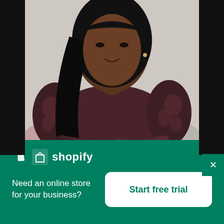[Figure (photo): A woman wearing a dark maroon/burgundy short-sleeve lace-detail top, sitting in a chair with arms crossed, light grey/beige background. Black side bars frame the photo.]
[Figure (screenshot): Shopify advertisement banner on green background with Shopify logo, tagline 'Need an online store for your business?' and a white 'Start free trial' button. Close (X) button in top right corner of banner area.]